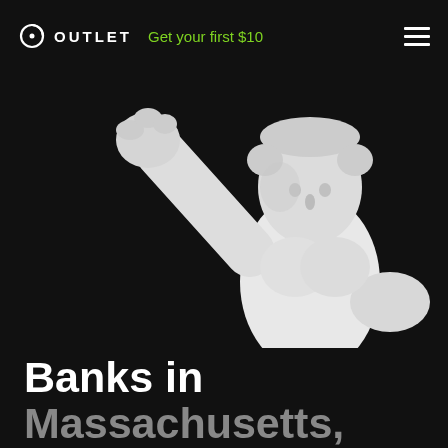OUTLET — Get your first $10
[Figure (photo): White classical Greek/Roman marble statue of a male figure with arm raised, shown from chest up against black background]
Banks in Massachusetts, Vineyard